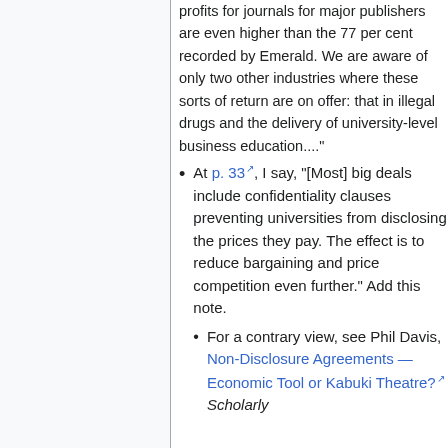profits for journals for major publishers are even higher than the 77 per cent recorded by Emerald. We are aware of only two other industries where these sorts of return are on offer: that in illegal drugs and the delivery of university-level business education...."'
At p. 33, I say, "[Most] big deals include confidentiality clauses preventing universities from disclosing the prices they pay. The effect is to reduce bargaining and price competition even further." Add this note.
For a contrary view, see Phil Davis, Non-Disclosure Agreements — Economic Tool or Kabuki Theatre? Scholarly